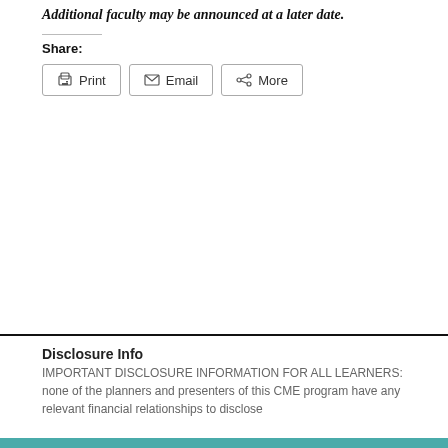Additional faculty may be announced at a later date.
Share:
[Figure (screenshot): Three share buttons: Print, Email, More]
Disclosure Info
IMPORTANT DISCLOSURE INFORMATION FOR ALL LEARNERS: none of the planners and presenters of this CME program have any relevant financial relationships to disclose